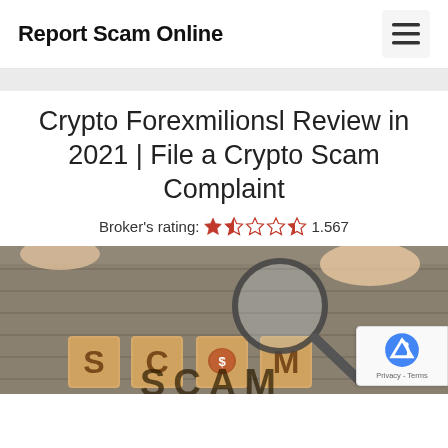Report Scam Online
Crypto Forexmilionsl Review in 2021 | File a Crypto Scam Complaint
Broker's rating: ★☆☆☆☆1.567
[Figure (photo): Wooden letter blocks spelling SCAM on a table with a magnifying glass held over a block showing a money bag icon, hands visible in background]